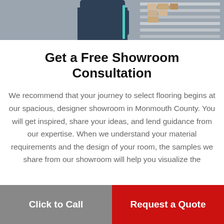[Figure (photo): Partial photo of a person in a dark shirt, appearing to be in a flooring showroom or warehouse with shelving in the background. Only the lower portion of the image is visible.]
Get a Free Showroom Consultation
We recommend that your journey to select flooring begins at our spacious, designer showroom in Monmouth County. You will get inspired, share your ideas, and lend guidance from our expertise. When we understand your material requirements and the design of your room, the samples we share from our showroom will help you visualize the
Click to Call
Request a Quote